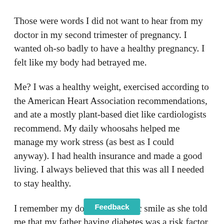Those were words I did not want to hear from my doctor in my second trimester of pregnancy. I wanted oh-so badly to have a healthy pregnancy. I felt like my body had betrayed me.
Me? I was a healthy weight, exercised according to the American Heart Association recommendations, and ate a mostly plant-based diet like cardiologists recommend. My daily whoosahs helped me manage my work stress (as best as I could anyway). I had health insurance and made a good living. I always believed that this was all I needed to stay healthy.
I remember my doctor's empathic smile as she told me that my father having diabetes was a risk factor, as were my high stress job and my “advanced” maternal age. I certainly didn’t feel advanced maternal anything, but I knew that w…ams and anti-ageing potions could